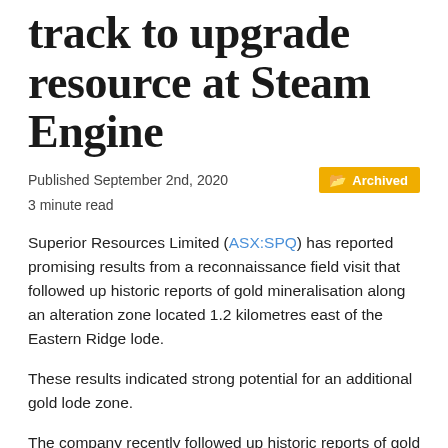track to upgrade resource at Steam Engine
Published September 2nd, 2020
Archived
3 minute read
Superior Resources Limited (ASX:SPQ) has reported promising results from a reconnaissance field visit that followed up historic reports of gold mineralisation along an alteration zone located 1.2 kilometres east of the Eastern Ridge lode.
These results indicated strong potential for an additional gold lode zone.
The company recently followed up historic reports of gold